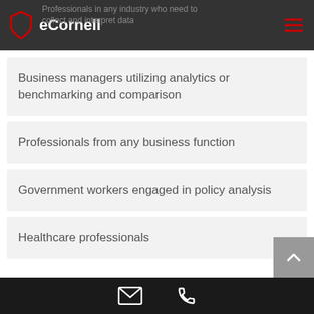eCornell
Professionals in any industry who need to collect and interpret data
Business managers utilizing analytics or benchmarking and comparison
Professionals from any business function
Government workers engaged in policy analysis
Healthcare professionals